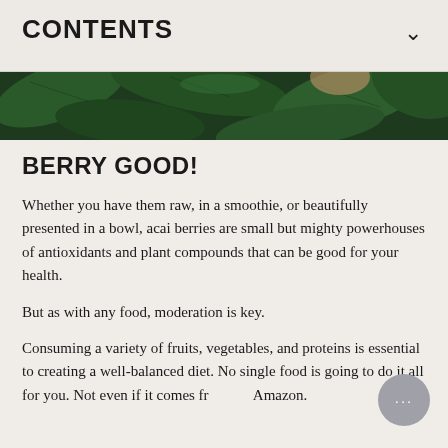CONTENTS
[Figure (photo): Close-up photograph of dark green leaves, partially visible at top of page]
BERRY GOOD!
Whether you have them raw, in a smoothie, or beautifully presented in a bowl, acai berries are small but mighty powerhouses of antioxidants and plant compounds that can be good for your health.
But as with any food, moderation is key.
Consuming a variety of fruits, vegetables, and proteins is essential to creating a well-balanced diet. No single food is going to do it all for you. Not even if it comes from the Amazon.